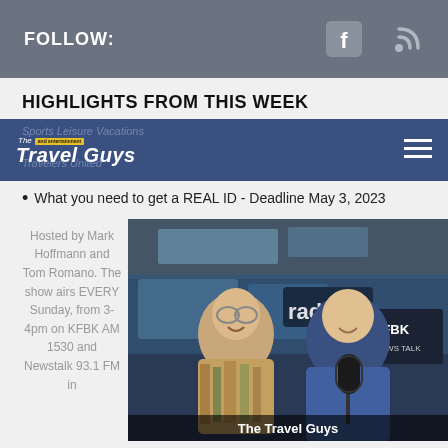FOLLOW:
HIGHLIGHTS FROM THIS WEEK
The Travel Guys and entertainment Sports Leisure Vacations Travelers United
What you need to get a REAL ID - Deadline May 3, 2023
Hosted by Mark Hoffmann and Tom Romano. The show airs EVERY Sunday, from 3-4pm on KFBK AM 1530 and Newstalk 93.1 FM in
[Figure (photo): Two men smiling in a radio studio with KFBK microphone, caption reads The Travel Guys]